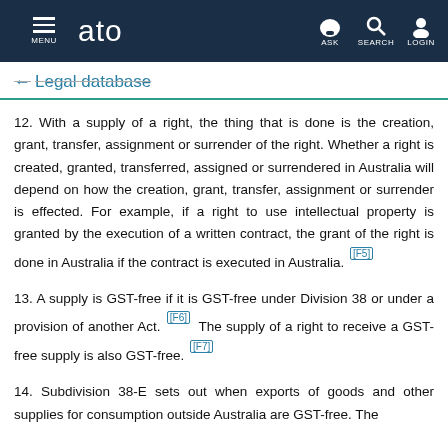ATO Legal database — MENU | ASK | SEARCH | LOGIN
← Legal database
12. With a supply of a right, the thing that is done is the creation, grant, transfer, assignment or surrender of the right. Whether a right is created, granted, transferred, assigned or surrendered in Australia will depend on how the creation, grant, transfer, assignment or surrender is effected. For example, if a right to use intellectual property is granted by the execution of a written contract, the grant of the right is done in Australia if the contract is executed in Australia. [F5]
13. A supply is GST-free if it is GST-free under Division 38 or under a provision of another Act. [F6]  The supply of a right to receive a GST-free supply is also GST-free. [F7]
14. Subdivision 38-E sets out when exports of goods and other supplies for consumption outside Australia are GST-free. The